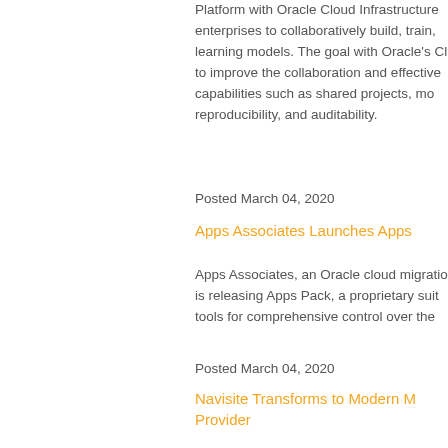Platform with Oracle Cloud Infrastructure enterprises to collaboratively build, train, learning models. The goal with Oracle's C to improve the collaboration and effective capabilities such as shared projects, mo reproducibility, and auditability.
Posted March 04, 2020
Apps Associates Launches Apps
Apps Associates, an Oracle cloud migratio is releasing Apps Pack, a proprietary suit tools for comprehensive control over the
Posted March 04, 2020
Navisite Transforms to Modern M Provider